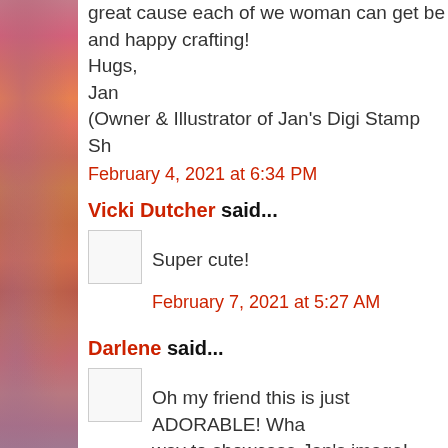great cause each of we woman can get be and happy crafting! Hugs, Jan (Owner & Illustrator of Jan's Digi Stamp Sh
February 4, 2021 at 6:34 PM
Vicki Dutcher said...
Super cute!
February 7, 2021 at 5:27 AM
Darlene said...
Oh my friend this is just ADORABLE! Wha way to showcase Jan's image! Thanks SO